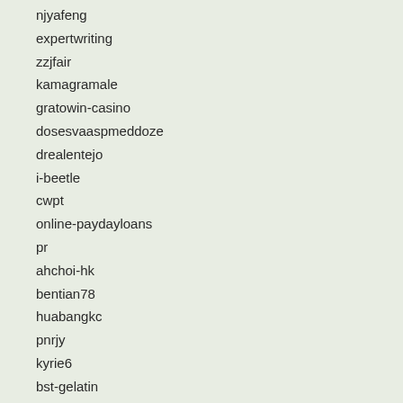njyafeng
expertwriting
zzjfair
kamagramale
gratowin-casino
dosesvaaspmeddoze
drealentejo
i-beetle
cwpt
online-paydayloans
pr
ahchoi-hk
bentian78
huabangkc
pnrjy
kyrie6
bst-gelatin
schattenraum
biztha
blogspot